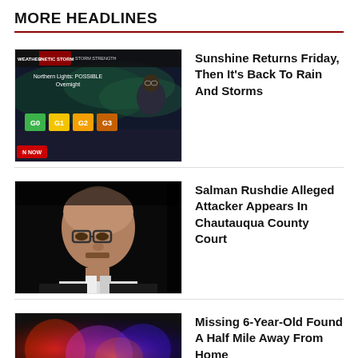MORE HEADLINES
[Figure (screenshot): Weather broadcast screenshot showing a meteorologist in front of a screen with Northern Lights POSSIBLE Overnight text and storm strength indicators G0, G1, G2, G3]
Sunshine Returns Friday, Then It's Back To Rain And Storms
[Figure (photo): Black and white portrait of Salman Rushdie, a bald man with glasses]
Salman Rushdie Alleged Attacker Appears In Chautauqua County Court
[Figure (photo): Colorful blurred lights photo, police lights in red, blue, purple]
Missing 6-Year-Old Found A Half Mile Away From Home